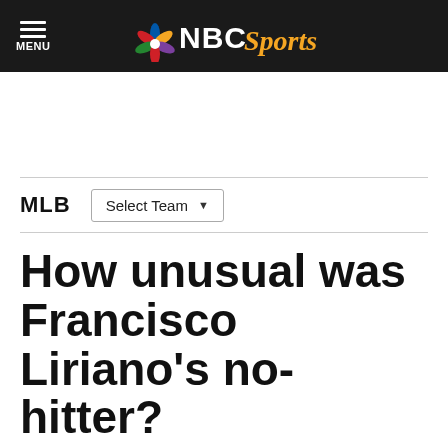NBC Sports
MLB   Select Team
How unusual was Francisco Liriano's no-hitter?
By Matthew Pouliot   May 4, 2011, 3:06 PM EDT
[Figure (photo): Bottom photo strip showing a dark scene with bright lights, partial image of a player or scene from the no-hitter game]